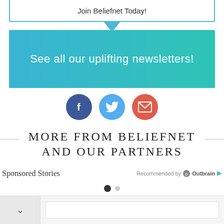Join Beliefnet Today!
See all our uplifting newsletters!
[Figure (infographic): Three social media icons: Facebook (dark blue circle), Twitter (light blue circle), Email (red circle)]
MORE FROM BELIEFNET AND OUR PARTNERS
Sponsored Stories
Recommended by Outbrain